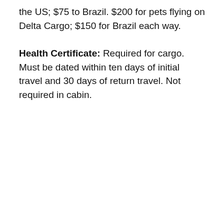the US; $75 to Brazil. $200 for pets flying on Delta Cargo; $150 for Brazil each way.
Health Certificate: Required for cargo. Must be dated within ten days of initial travel and 30 days of return travel. Not required in cabin.